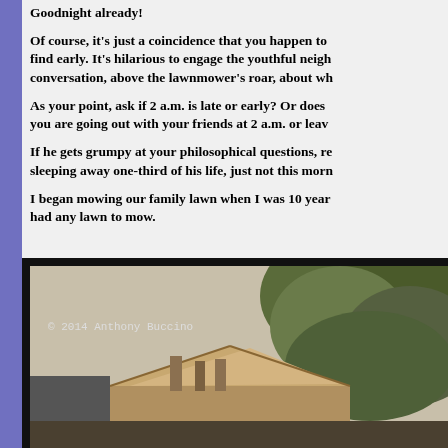Goodnight already!
Of course, it's just a coincidence that you happen to find early. It's hilarious to engage the youthful neigh conversation, above the lawnmower's roar, about wh
As your point, ask if 2 a.m. is late or early? Or does you are going out with your friends at 2 a.m. or leav
If he gets grumpy at your philosophical questions, re sleeping away one-third of his life, just not this morr
I began mowing our family lawn when I was 10 year had any lawn to mow.
[Figure (photo): Photograph of a house rooftop and large evergreen tree, with copyright notice '© 2014 Anthony Buccino']